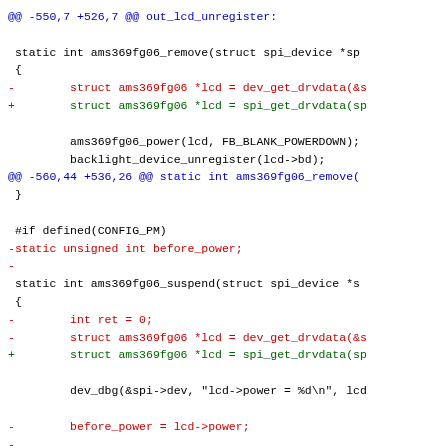[Figure (screenshot): A code diff view showing changes to a Linux kernel driver file (ams369fg06). The diff shows replacements of dev_get_drvdata with spi_get_drvdata, removal of before_power variable, and deletion of int ret = 0. Uses color coding: blue for hunk headers, red for removed lines, green for added lines, black for context lines.]